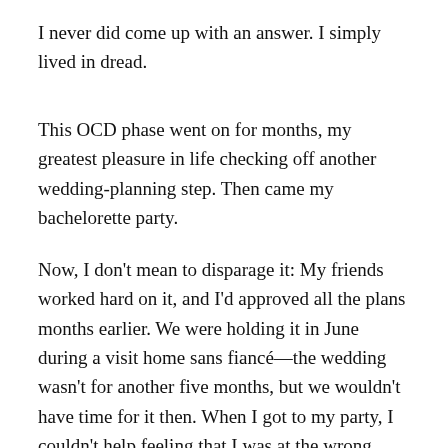I never did come up with an answer. I simply lived in dread.
This OCD phase went on for months, my greatest pleasure in life checking off another wedding-planning step. Then came my bachelorette party.
Now, I don't mean to disparage it: My friends worked hard on it, and I'd approved all the plans months earlier. We were holding it in June during a visit home sans fiancé—the wedding wasn't for another five months, but we wouldn't have time for it then. When I got to my party, I couldn't help feeling that I was at the wrong place. It was as if a stranger had been the one to approve those plans. A stranger with a nearly-100-percent-checked-off wedding planning list. A stranger who was totally okay with an afternoon bachelorette party that involved a lot of Pampered Chef kitchen